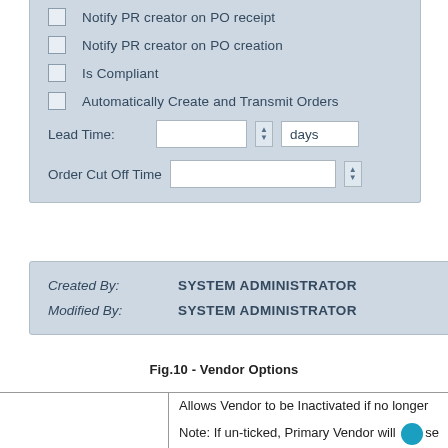[Figure (screenshot): UI panel (vendor options) showing checkboxes for 'Notify PR creator on PO receipt', 'Notify PR creator on PO creation', 'Is Compliant', 'Automatically Create and Transmit Orders', plus Lead Time and Order Cut Off Time fields]
[Figure (screenshot): Info panel showing 'Created By: SYSTEM ADMINISTRATOR' and 'Modified By: SYSTEM ADMINISTRATOR']
Fig.10 - Vendor Options
|  |  |
| --- | --- |
|  | Allows Vendor to be Inactivated if no longer |
|  | Note: If un-ticked, Primary Vendor will be se... |
| Active Vendor |  |